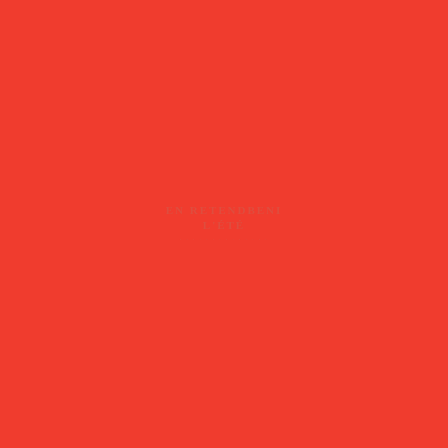EN RETENDBENI L'ÉTÉ
subtitle line beneath title